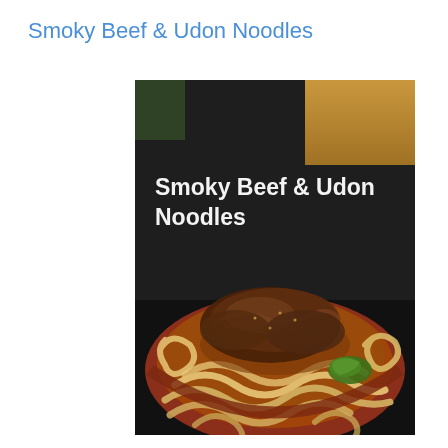Smoky Beef & Udon Noodles
[Figure (photo): A bowl of Smoky Beef & Udon Noodles — thick udon noodles in dark broth topped with thinly sliced braised beef and green garnish, served in a red-rimmed bowl. Text overlay reads 'Smoky Beef & Udon Noodles' in bold white font.]